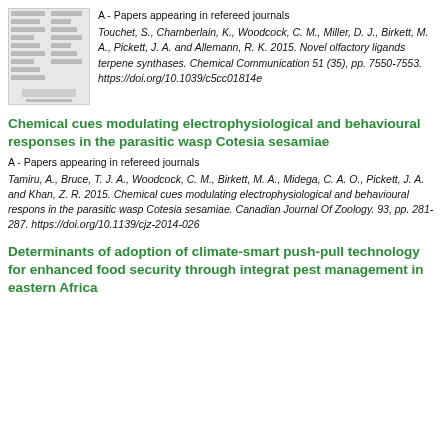[Figure (other): Thumbnail image of a document/paper page]
A - Papers appearing in refereed journals Touchet, S., Chamberlain, K., Woodcock, C. M., Miller, D. J., Birkett, M. A., Pickett, J. A. and Allemann, R. K. 2015. Novel olfactory ligands terpene synthases. Chemical Communications 51 (35), pp. 7550-7553. https://doi.org/10.1039/c5cc01814e
Chemical cues modulating electrophysiological and behavioural responses in the parasitic wasp Cotesia sesamiae
A - Papers appearing in refereed journals Tamiru, A., Bruce, T. J. A., Woodcock, C. M., Birkett, M. A., Midega, C. A. O., Pickett, J. A. and Khan, Z. R. 2015. Chemical cues modulating electrophysiological and behavioural responses in the parasitic wasp Cotesia sesamiae. Canadian Journal Of Zoology. 93, pp. 281-287. https://doi.org/10.1139/cjz-2014-026
Determinants of adoption of climate-smart push-pull technology for enhanced food security through integrated pest management in eastern Africa